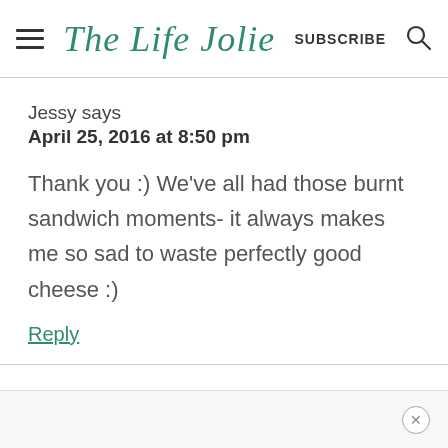The Life Jolie | SUBSCRIBE
Jessy says
April 25, 2016 at 8:50 pm

Thank you :) We've all had those burnt sandwich moments- it always makes me so sad to waste perfectly good cheese :)
Reply